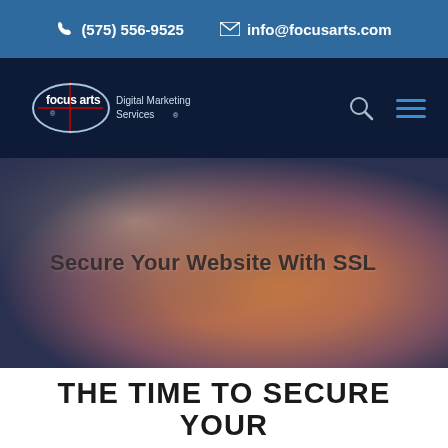☎ (575) 556-9525   ✉ info@focusarts.com
[Figure (logo): Focus Arts Digital Marketing Services logo — oval outline with 'focus arts' text and crosshair lines, with 'Digital Marketing Services' text beside it]
Secure Your Website With SSL
THE TIME TO SECURE YOUR